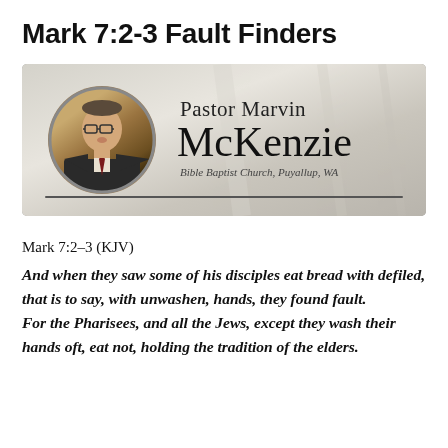Mark 7:2-3 Fault Finders
[Figure (photo): Banner image with circular portrait photo of Pastor Marvin McKenzie in a suit. Text reads 'Pastor Marvin McKenzie' with subtitle 'Bible Baptist Church, Puyallup, WA'. Metallic/silver gradient background with a horizontal divider line at the bottom.]
Mark 7:2–3 (KJV)
And when they saw some of his disciples eat bread with defiled, that is to say, with unwashen, hands, they found fault.
For the Pharisees, and all the Jews, except they wash their hands oft, eat not, holding the tradition of the elders.